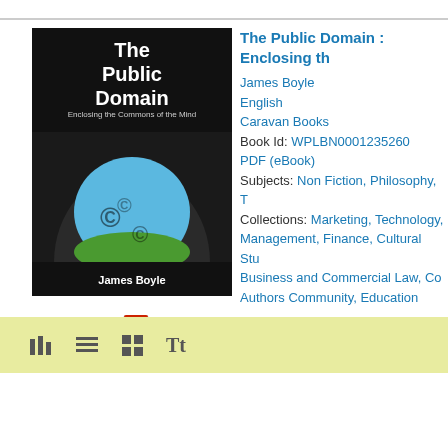[Figure (illustration): Book cover of 'The Public Domain: Enclosing the Commons of the Mind' by James Boyle. Dark tunnel with green landscape visible through the opening, copyright symbols overlaid.]
The Public Domain : Enclosing th
James Boyle
English
Caravan Books
Book Id: WPLBN0001235260
PDF (eBook)
Subjects: Non Fiction, Philosophy, T
Collections: Marketing, Technology, Management, Finance, Cultural Stu Business and Commercial Law, Co Authors Community, Education
▶ Abstract
[Figure (other): Toolbar with view icons: bar chart view, list view, grid view, and text size (Tt) options on a light green-yellow background.]